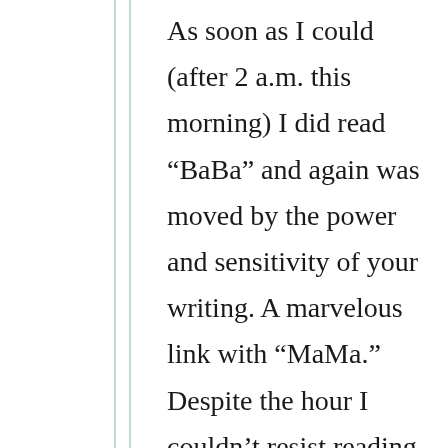As soon as I could (after 2 a.m. this morning) I did read “BaBa” and again was moved by the power and sensitivity of your writing. A marvelous link with “MaMa.” Despite the hour I couldn’t resist reading the other two pieces: also wonderful in their distinctly different ways. Your autobiographical notes are just overwhelming. I hope you are finding time